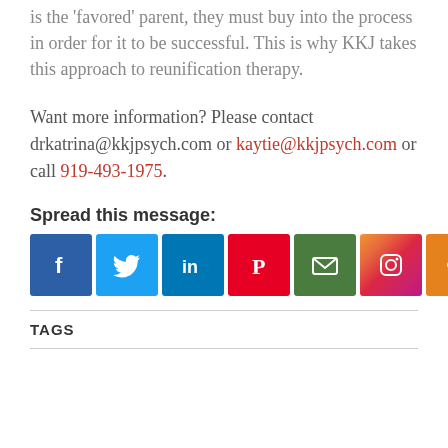is the 'favored' parent, they must buy into the process in order for it to be successful. This is why KKJ takes this approach to reunification therapy.
Want more information? Please contact drkatrina@kkjpsych.com or kaytie@kkjpsych.com or call 919-493-1975.
Spread this message:
[Figure (infographic): Row of 7 social media share icons: Facebook (blue), Twitter (light blue), LinkedIn (dark blue), Pinterest (red), Email (green), Instagram (gradient/purple), Share (orange)]
TAGS